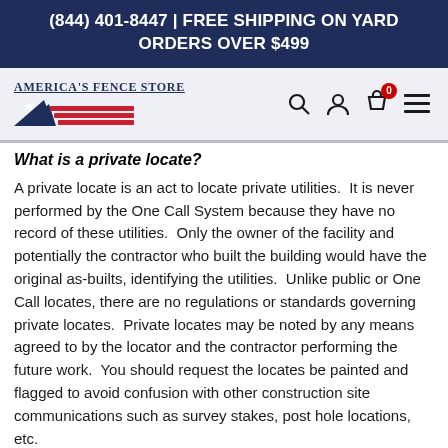(844) 401-8447 | FREE SHIPPING ON YARD ORDERS OVER $499
[Figure (logo): America's Fence Store logo with flag graphic]
What is a private locate?
A private locate is an act to locate private utilities.  It is never performed by the One Call System because they have no record of these utilities.  Only the owner of the facility and potentially the contractor who built the building would have the original as-builts, identifying the utilities.  Unlike public or One Call locates, there are no regulations or standards governing private locates.  Private locates may be noted by any means agreed to by the locator and the contractor performing the future work.  You should request the locates be painted and flagged to avoid confusion with other construction site communications such as survey stakes, post hole locations, etc.